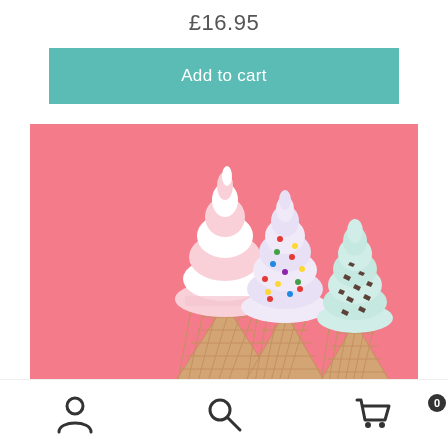£16.95
Add to cart
[Figure (photo): Three colorful soft-serve ice cream cones against a pink background. Left cone has pink and white swirl, center cone has rainbow sprinkles with pastel colors, right cone has chocolate chip sprinkles with mint/white coloring. All in waffle cones.]
[Figure (other): Bottom navigation bar with three icons: user/person icon on left, search/magnifier icon in center, shopping cart icon with badge showing 0 on right.]